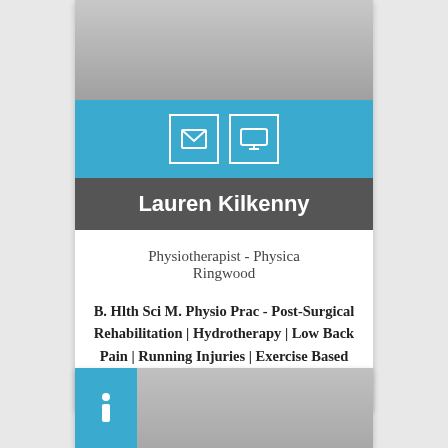[Figure (photo): Grey/white professional photo of person in white shirt, cropped to upper body]
[Figure (illustration): Blue band with email icon and monitor/screen icon in white outlined boxes]
Lauren Kilkenny
Physiotherapist - Physica Ringwood
B. Hlth Sci M. Physio Prac - Post-Surgical Rehabilitation | Hydrotherapy | Low Back Pain | Running Injuries | Exercise Based Rehabilitation
[Figure (illustration): Partial bottom card with blue info icon box and grey photo area]